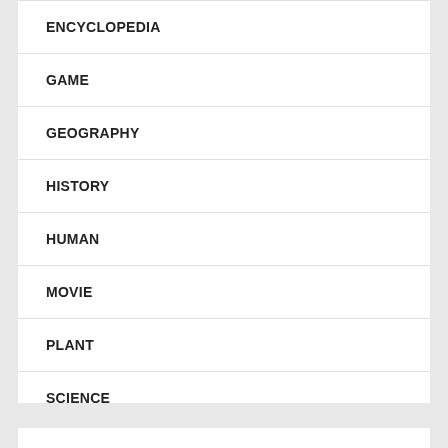ENCYCLOPEDIA
GAME
GEOGRAPHY
HISTORY
HUMAN
MOVIE
PLANT
SCIENCE
SOCIAL
SPORTS